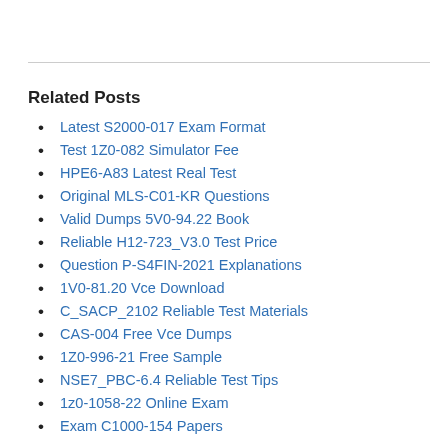Related Posts
Latest S2000-017 Exam Format
Test 1Z0-082 Simulator Fee
HPE6-A83 Latest Real Test
Original MLS-C01-KR Questions
Valid Dumps 5V0-94.22 Book
Reliable H12-723_V3.0 Test Price
Question P-S4FIN-2021 Explanations
1V0-81.20 Vce Download
C_SACP_2102 Reliable Test Materials
CAS-004 Free Vce Dumps
1Z0-996-21 Free Sample
NSE7_PBC-6.4 Reliable Test Tips
1z0-1058-22 Online Exam
Exam C1000-154 Papers
Cheap Databricks-Certified-Professional-Data-Engineer Dumps